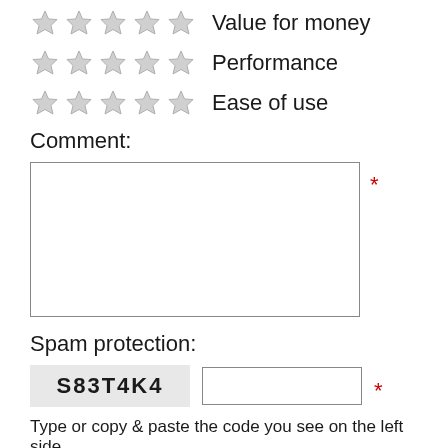Value for money
Performance
Ease of use
Comment:
Spam protection:
S83T4K4
Type or copy & paste the code you see on the left side